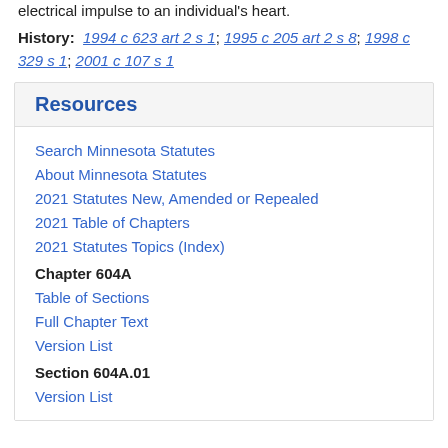electrical impulse to an individual's heart.
History: 1994 c 623 art 2 s 1; 1995 c 205 art 2 s 8; 1998 c 329 s 1; 2001 c 107 s 1
Resources
Search Minnesota Statutes
About Minnesota Statutes
2021 Statutes New, Amended or Repealed
2021 Table of Chapters
2021 Statutes Topics (Index)
Chapter 604A
Table of Sections
Full Chapter Text
Version List
Section 604A.01
Version List